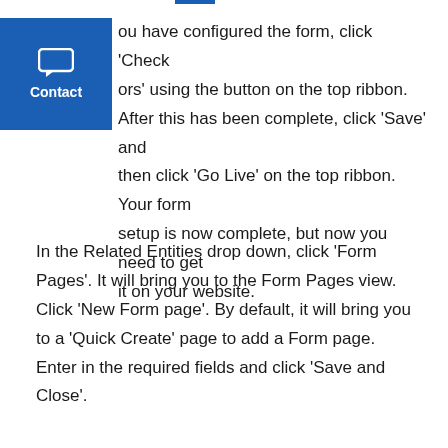[Figure (other): Blue contact widget with chat bubble icon and 'Contact' label]
Once you have configured the form, click 'Check Errors' using the button on the top ribbon. After this has been complete, click 'Save' and then click 'Go Live' on the top ribbon. Your form setup is now complete, but now you need to get it on your website.
In the Related Entities drop down, click 'Form Pages'. It will bring you to the Form Pages view. Click 'New Form page'. By default, it will bring you to a 'Quick Create' page to add a Form page. Enter in the required fields and click 'Save and Close'.